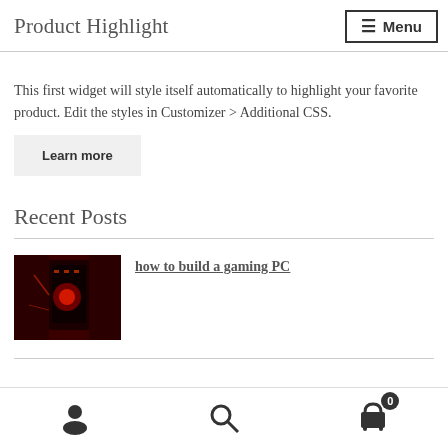Product Highlight  Menu
This first widget will style itself automatically to highlight your favorite product. Edit the styles in Customizer > Additional CSS.
Learn more
Recent Posts
how to build a gaming PC
[Figure (photo): Thumbnail image of a gaming PC build with red lighting]
User icon, Search icon, Cart icon with badge 0